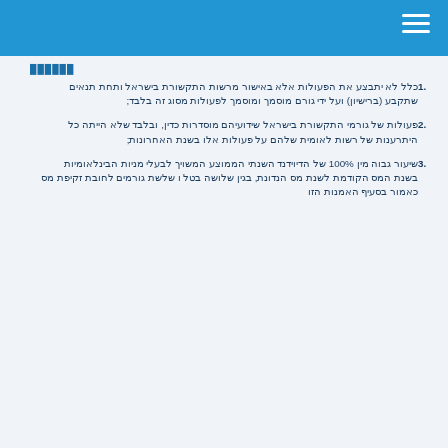Item 1 - Hebrew/Arabic script text regarding legal provisions and regulations (parenthetical) and further conditions describing procedural requirements and obligations therein;
Item 2 - Hebrew/Arabic script text regarding legal provisions related to administrative regulatory matters, including conditions and timelines for submission of documentation and related forms;
Item 3 - Hebrew/Arabic script text referencing 100% and further legal and administrative provisions regarding regulatory compliance requirements and associated obligations and procedures under relevant statutory frameworks